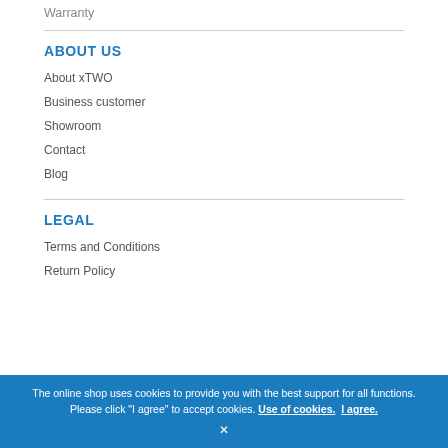Warranty
ABOUT US
About xTWO
Business customer
Showroom
Contact
Blog
LEGAL
Terms and Conditions
Return Policy
The online shop uses cookies to provide you with the best support for all functions. Please click "I agree" to accept cookies. Use of cookies. I agree.